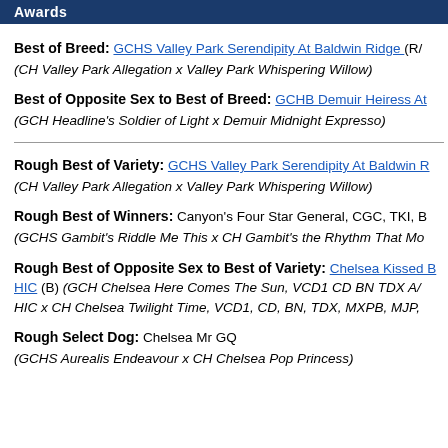Awards
Best of Breed: GCHS Valley Park Serendipity At Baldwin Ridge (RA... (CH Valley Park Allegation x Valley Park Whispering Willow)
Best of Opposite Sex to Best of Breed: GCHB Demuir Heiress At... (GCH Headline's Soldier of Light x Demuir Midnight Expresso)
Rough Best of Variety: GCHS Valley Park Serendipity At Baldwin R... (CH Valley Park Allegation x Valley Park Whispering Willow)
Rough Best of Winners: Canyon's Four Star General, CGC, TKI, B... (GCHS Gambit's Riddle Me This x CH Gambit's the Rhythm That Mo...
Rough Best of Opposite Sex to Best of Variety: Chelsea Kissed B... HIC (B) (GCH Chelsea Here Comes The Sun, VCD1 CD BN TDX A... HIC x CH Chelsea Twilight Time, VCD1, CD, BN, TDX, MXPB, MJP,...
Rough Select Dog: Chelsea Mr GQ (GCHS Aurealis Endeavour x CH Chelsea Pop Princess)